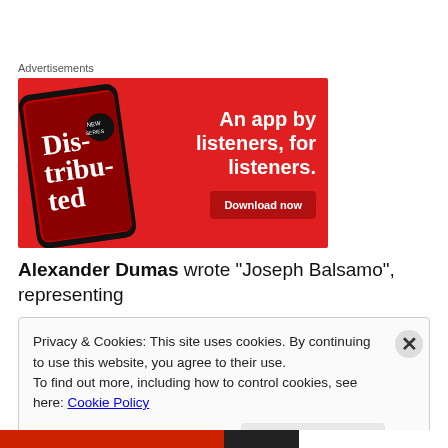Advertisements
[Figure (illustration): Red advertisement banner for a podcast app showing a smartphone with 'Distributed' podcast cover, text 'An app by listeners, for listeners.' and a 'Download now' button]
Alexander Dumas wrote “Joseph Balsamo”, representing
Privacy & Cookies: This site uses cookies. By continuing to use this website, you agree to their use.
To find out more, including how to control cookies, see here: Cookie Policy
Close and accept